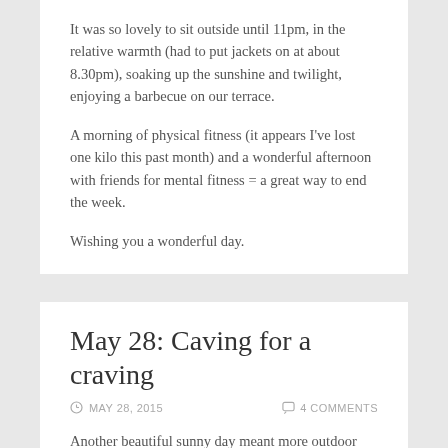It was so lovely to sit outside until 11pm, in the relative warmth (had to put jackets on at about 8.30pm), soaking up the sunshine and twilight, enjoying a barbecue on our terrace.
A morning of physical fitness (it appears I've lost one kilo this past month) and a wonderful afternoon with friends for mental fitness = a great way to end the week.
Wishing you a wonderful day.
May 28: Caving for a craving
MAY 28, 2015   4 COMMENTS
Another beautiful sunny day meant more outdoor work, and outdoor work without breakfast or lunch meant one hungry beast come dinner time.
So we wandered into the fridge for some barbecue ingredients...